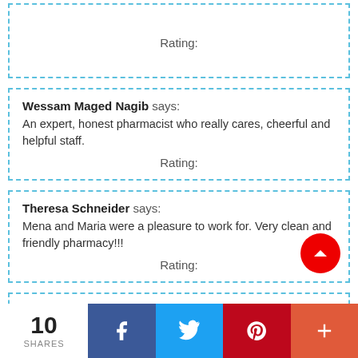Rating:
Wessam Maged Nagib says:
An expert, honest pharmacist who really cares, cheerful and helpful staff.
Rating:
Theresa Schneider says:
Mena and Maria were a pleasure to work for. Very clean and friendly pharmacy!!!
Rating:
10 SHARES | Facebook | Twitter | Pinterest | More